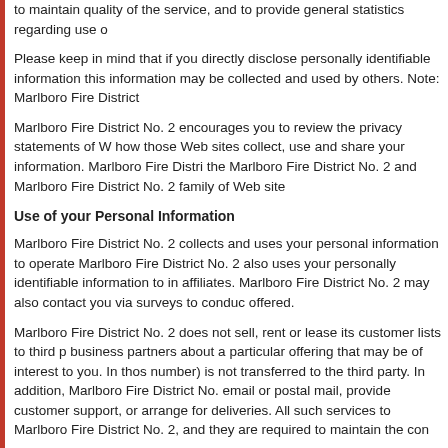to maintain quality of the service, and to provide general statistics regarding use o
Please keep in mind that if you directly disclose personally identifiable information this information may be collected and used by others. Note: Marlboro Fire District
Marlboro Fire District No. 2 encourages you to review the privacy statements of W how those Web sites collect, use and share your information. Marlboro Fire Distri the Marlboro Fire District No. 2 and Marlboro Fire District No. 2 family of Web site
Use of your Personal Information
Marlboro Fire District No. 2 collects and uses your personal information to operate Marlboro Fire District No. 2 also uses your personally identifiable information to in affiliates. Marlboro Fire District No. 2 may also contact you via surveys to conduc offered.
Marlboro Fire District No. 2 does not sell, rent or lease its customer lists to third p business partners about a particular offering that may be of interest to you. In thos number) is not transferred to the third party. In addition, Marlboro Fire District No. email or postal mail, provide customer support, or arrange for deliveries. All such services to Marlboro Fire District No. 2, and they are required to maintain the con
Marlboro Fire District No. 2 does not use or disclose sensitive personal informatio
Marlboro Fire District No. 2 keeps track of the Web sites and pages our customer 2 services are the most popular. This data is used to deliver customized content a they are interested in a particular subject area.
Marlboro Fire District No. 2 Web sites will disclose your personal information, with necessary to: (a) conform to the edicts of the law or comply with legal process se